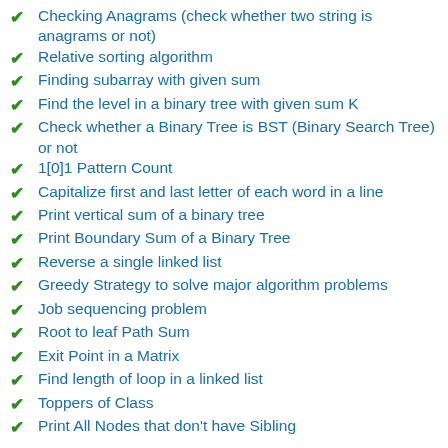Checking Anagrams (check whether two string is anagrams or not)
Relative sorting algorithm
Finding subarray with given sum
Find the level in a binary tree with given sum K
Check whether a Binary Tree is BST (Binary Search Tree) or not
1[0]1 Pattern Count
Capitalize first and last letter of each word in a line
Print vertical sum of a binary tree
Print Boundary Sum of a Binary Tree
Reverse a single linked list
Greedy Strategy to solve major algorithm problems
Job sequencing problem
Root to leaf Path Sum
Exit Point in a Matrix
Find length of loop in a linked list
Toppers of Class
Print All Nodes that don't have Sibling